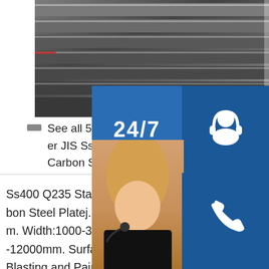[Figure (photo): Stack of steel plates/sheets seen from side angle, dark metallic surfaces]
— See all 5 rows er JIS Ss400 Carbon Steel P
Ss400 Q235 Standard Carbon Steel Platej. Th m. Width:1000-3000m -12000mm. Surface: Blasting and Painting. Our main products cover Galvanized Steel Coil,Galvanized Steel Sheet, Galvanized Roofing Sheet,Galvalume Steel Coil, Galvalume Steel Sheet, sp.info Q235 Carbon Steel Coil / StripNov 08, 2021 · Pro
[Figure (infographic): Customer service overlay widget with 24/7 label, headset icon, phone icon, Skype icon, woman with headset, PROVIDE Empowering Cu... text, and online live button]